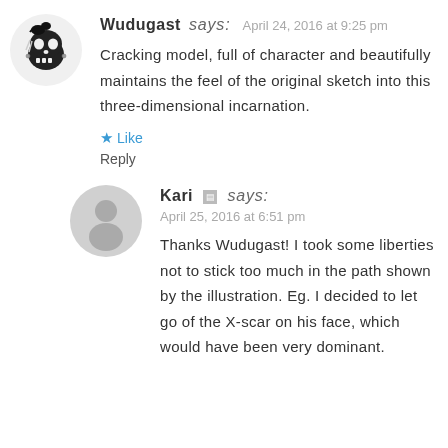[Figure (illustration): Avatar of Wudugast: a black and white skull illustration with a bird/raven on top]
Wudugast says: April 24, 2016 at 9:25 pm
Cracking model, full of character and beautifully maintains the feel of the original sketch into this three-dimensional incarnation.
★ Like
Reply
[Figure (illustration): Generic gray user avatar placeholder (circle with person silhouette)]
Kari says: April 25, 2016 at 6:51 pm
Thanks Wudugast! I took some liberties not to stick too much in the path shown by the illustration. Eg. I decided to let go of the X-scar on his face, which would have been very dominant.